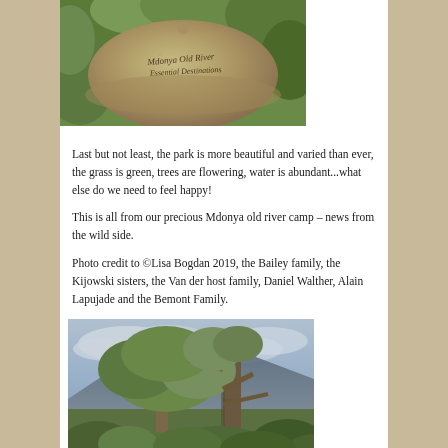[Figure (photo): A khaki/beige safari cap with text 'Mdonya Old River Essential Destinations' embroidered on it, photographed against a green leafy background.]
Last but not least, the park is more beautiful and varied than ever, the grass is green, trees are flowering, water is abundant...what else do we need to feel happy!
This is all from our precious Mdonya old river camp – news from the wild side.
Photo credit to ©Lisa Bogdan 2019, the Bailey family, the Kijowski sisters, the Van der host family, Daniel Walther, Alain Lapujade and the Bemont Family.
[Figure (photo): A landscape photo showing large trees with spreading branches and green foliage against a cloudy sky, with mountains visible in the background and dense bush vegetation in the foreground.]